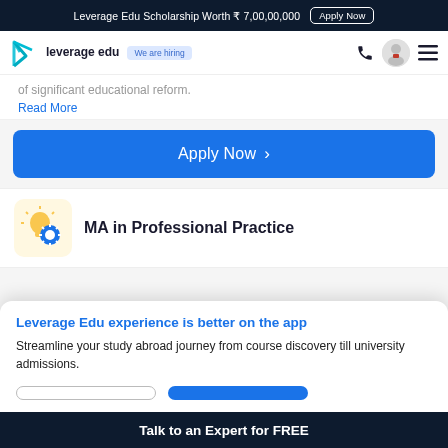Leverage Edu Scholarship Worth ₹ 7,00,00,000  Apply Now
[Figure (logo): Leverage Edu logo with teal checkmark icon and 'We are hiring' badge]
of significant educational reform.
Read More
Apply Now >
[Figure (illustration): Yellow lightbulb with blue gear icon representing professional practice course]
MA in Professional Practice
Leverage Edu experience is better on the app
Streamline your study abroad journey from course discovery till university admissions.
Talk to an Expert for FREE